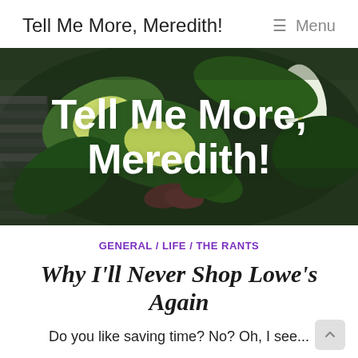Tell Me More, Meredith! / ☰ Menu
[Figure (photo): Hero banner photo of dense indoor plants including pothos, dieffenbachia, and peace lily against a brick wall background. Bold white text overlaid reads 'Tell Me More, Meredith!']
GENERAL / LIFE / THE RANTS
Why I'll Never Shop Lowe's Again
Do you like saving time? No? Oh, I see...